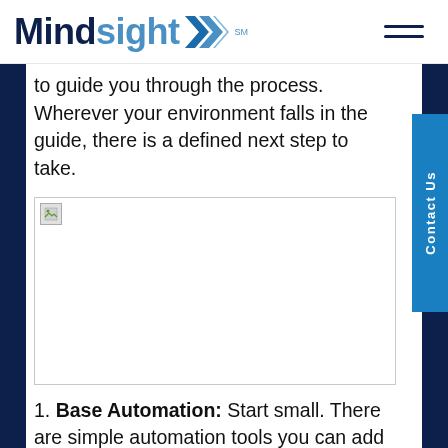Mindsight
to guide you through the process. Wherever your environment falls in the guide, there is a defined next step to take.
[Figure (other): Placeholder image with broken image icon, large white area]
1. Base Automation: Start small. There are simple automation tools you can add to your existing network today and receive immediately benefits...